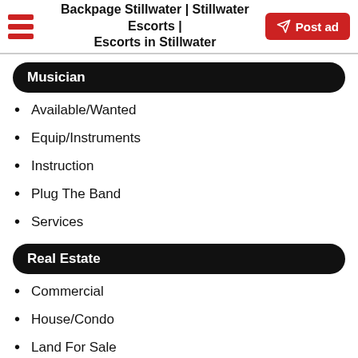Backpage Stillwater | Stillwater Escorts | Escorts in Stillwater
Musician
Available/Wanted
Equip/Instruments
Instruction
Plug The Band
Services
Real Estate
Commercial
House/Condo
Land For Sale